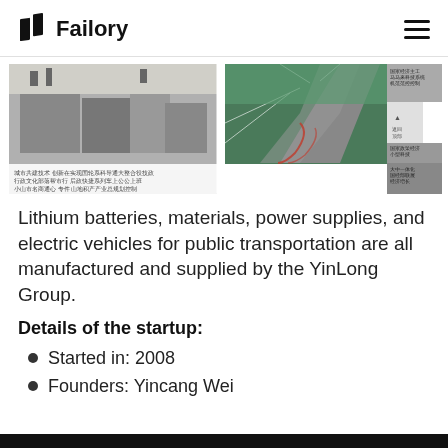Failory
[Figure (photo): Two photographs: left shows a large industrial/factory building with Chinese text caption below; right shows an aerial view of a highway interchange plus smaller thumbnail images with Chinese text captions.]
Lithium batteries, materials, power supplies, and electric vehicles for public transportation are all manufactured and supplied by the YinLong Group.
Details of the startup:
Started in: 2008
Founders: Yincang Wei